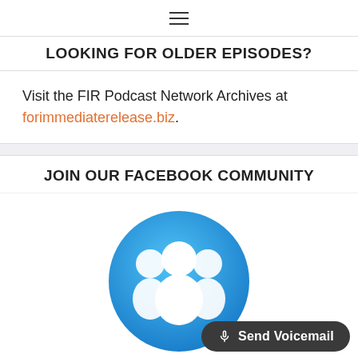☰
LOOKING FOR OLDER EPISODES?
Visit the FIR Podcast Network Archives at forimmediaterelease.biz.
JOIN OUR FACEBOOK COMMUNITY
[Figure (illustration): Blue circular icon with three white silhouetted people figures representing a Facebook community group]
🎤 Send Voicemail